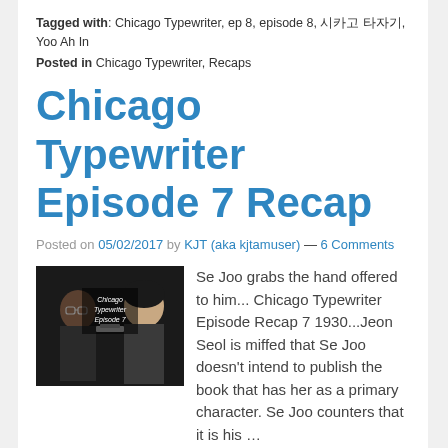Tagged with: Chicago Typewriter, ep 8, episode 8, 시카고 타자기, Yoo Ah In
Posted in Chicago Typewriter, Recaps
Chicago Typewriter Episode 7 Recap
Posted on 05/02/2017 by KJT (aka kjtamuser) — 6 Comments
[Figure (photo): Thumbnail image for Chicago Typewriter Episode 7 with two characters and text overlay reading 'Chicago Typewriter Episode 7']
Se Joo grabs the hand offered to him... Chicago Typewriter Episode Recap 7 1930...Jeon Seol is miffed that Se Joo doesn't intend to publish the book that has her as a primary character. Se Joo counters that it is his …
Read →